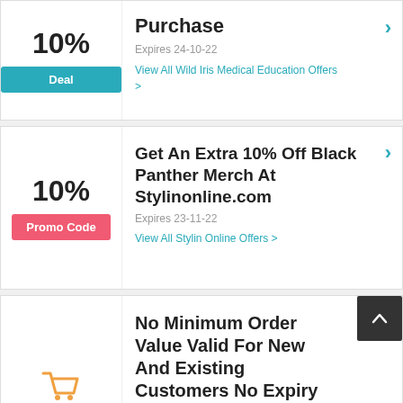10%
Deal
Purchase
Expires 24-10-22
View All Wild Iris Medical Education Offers >
10%
Promo Code
Get An Extra 10% Off Black Panther Merch At Stylinonline.com
Expires 23-11-22
View All Stylin Online Offers >
No Minimum Order Value Valid For New And Existing Customers No Expiry